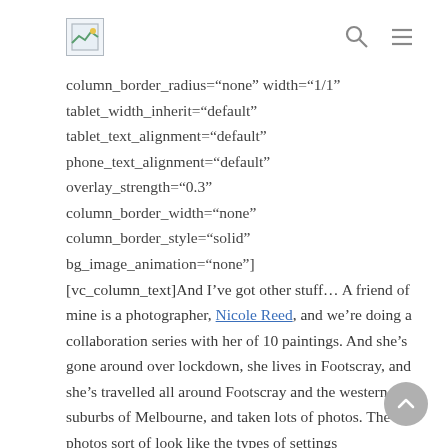[logo] [search icon] [menu icon]
column_border_radius="none" width="1/1" tablet_width_inherit="default" tablet_text_alignment="default" phone_text_alignment="default" overlay_strength="0.3" column_border_width="none" column_border_style="solid" bg_image_animation="none"] [vc_column_text]And I've got other stuff... A friend of mine is a photographer, Nicole Reed, and we're doing a collaboration series with her of 10 paintings. And she's gone around over lockdown, she lives in Footscray, and she's travelled all around Footscray and the western suburbs of Melbourne, and taken lots of photos. The photos sort of look like the types of settings